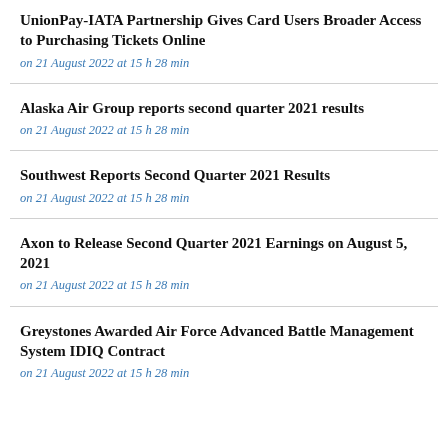UnionPay-IATA Partnership Gives Card Users Broader Access to Purchasing Tickets Online
on 21 August 2022 at 15 h 28 min
Alaska Air Group reports second quarter 2021 results
on 21 August 2022 at 15 h 28 min
Southwest Reports Second Quarter 2021 Results
on 21 August 2022 at 15 h 28 min
Axon to Release Second Quarter 2021 Earnings on August 5, 2021
on 21 August 2022 at 15 h 28 min
Greystones Awarded Air Force Advanced Battle Management System IDIQ Contract
on 21 August 2022 at 15 h 28 min